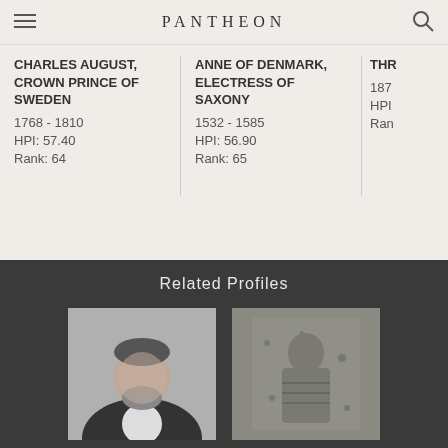PANTHEON
CHARLES AUGUST, CROWN PRINCE OF SWEDEN
1768 - 1810
HPI: 57.40
Rank: 64
ANNE OF DENMARK, ELECTRESS OF SAXONY
1532 - 1585
HPI: 56.90
Rank: 65
187
HPI
Ran
Related Profiles
[Figure (photo): Black and white portrait photograph of a bearded man in formal attire]
[Figure (photo): Stone relief carving or ancient sculpture detail]